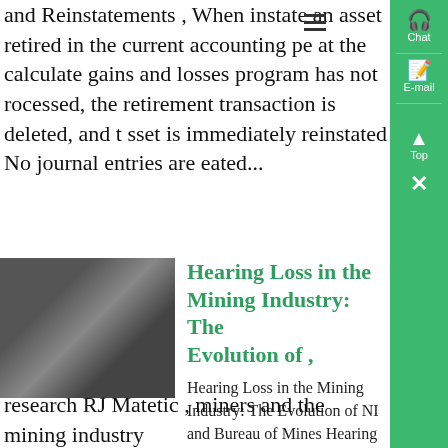and Reinstatements , When instate an asset retired in the current accounting period at the calculate gains and losses program has not processed, the retirement transaction is deleted, and the asset is immediately reinstated No journal entries are created...
[Figure (photo): A photograph of people in what appears to be a mining or industrial setting, wearing protective gear and handling documents or equipment.]
Hearing Loss in the Mining Industry: The Evolution of ,
Hearing Loss in the Mining Industry: The Evolution of NIOSH and Bureau of Mines Hearing research RJ Matetic , miners and the mining industry. NIOSH mining hearing loss program developed a strategy in 2004 that...